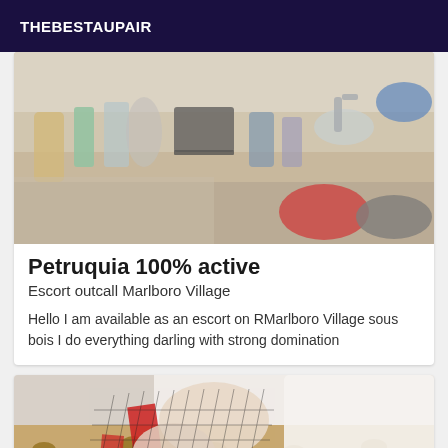THEBESTAUPAIR
[Figure (photo): Blurry photo of a bathroom countertop with various items visible including bottles and a laptop]
Petruquia 100% active
Escort outcall Marlboro Village
Hello I am available as an escort on RMarlboro Village sous bois I do everything darling with strong domination
[Figure (photo): Photo showing legs wearing black fishnet stockings and heels on a leopard print surface with red fabric visible]